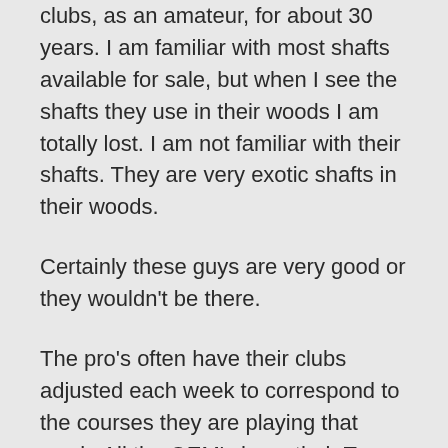clubs, as an amateur, for about 30 years. I am familiar with most shafts available for sale, but when I see the shafts they use in their woods I am totally lost. I am not familiar with their shafts. They are very exotic shafts in their woods.
Certainly these guys are very good or they wouldn't be there.
The pro's often have their clubs adjusted each week to correspond to the courses they are playing that week. All the OEM's have their Tour Vans at that weeks venue. Often their irons are not available for sale to we mere mortals.